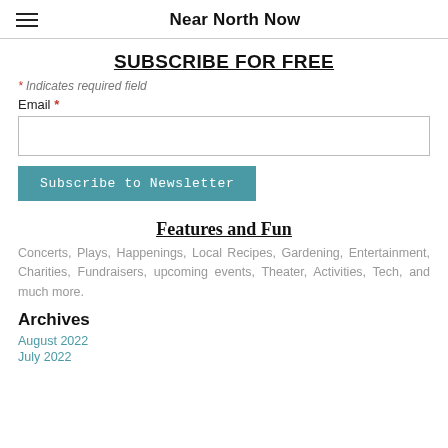Near North Now
SUBSCRIBE FOR FREE
* Indicates required field
Email *
Features and Fun
Concerts, Plays, Happenings, Local Recipes, Gardening, Entertainment, Charities, Fundraisers, upcoming events, Theater, Activities, Tech, and much more.
Archives
August 2022
July 2022